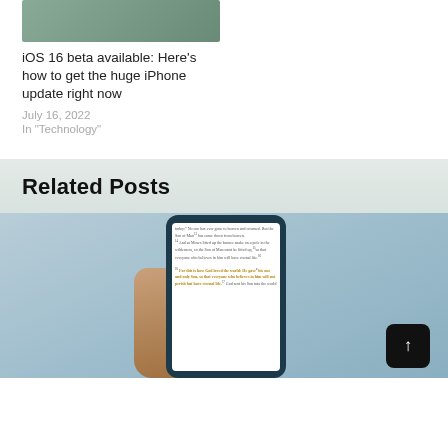[Figure (photo): Photo of hands holding a phone, cropped at top of page]
iOS 16 beta available: Here's how to get the huge iPhone update right now
July 16, 2022
In "Technology"
Related Posts
[Figure (photo): Hand holding a smartphone displaying Bible verses (John 3:13-16), highlighted in yellow on a Bible app, against a blue-grey sky background]